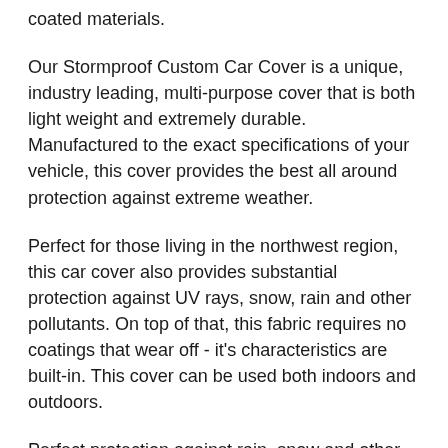coated materials.
Our Stormproof Custom Car Cover is a unique, industry leading, multi-purpose cover that is both light weight and extremely durable. Manufactured to the exact specifications of your vehicle, this cover provides the best all around protection against extreme weather.
Perfect for those living in the northwest region, this car cover also provides substantial protection against UV rays, snow, rain and other pollutants. On top of that, this fabric requires no coatings that wear off - it's characteristics are built-in. This cover can be used both indoors and outdoors.
Perfect protection against rain, snow and other harsh weather conditions